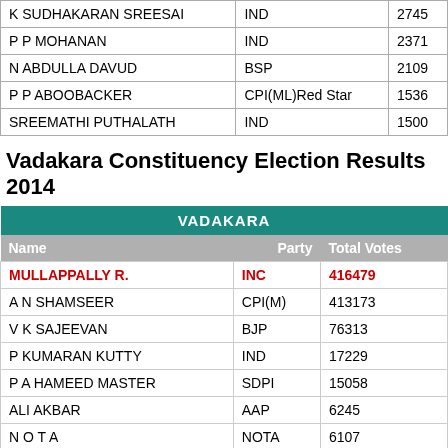| Name | Party | Total Votes |
| --- | --- | --- |
| K SUDHAKARAN SREESAI | IND | 2745 |
| P P MOHANAN | IND | 2371 |
| N ABDULLA DAVUD | BSP | 2109 |
| P P ABOOBACKER | CPI(ML)Red Star | 1536 |
| SREEMATHI PUTHALATH | IND | 1500 |
Vadakara Constituency Election Results 2014
| VADAKARA |  |  |
| --- | --- | --- |
| MULLAPPALLY R. | INC | 416479 |
| A N SHAMSEER | CPI(M) | 413173 |
| V K SAJEEVAN | BJP | 76313 |
| P KUMARAN KUTTY | IND | 17229 |
| P A HAMEED MASTER | SDPI | 15058 |
| ALI AKBAR | AAP | 6245 |
| N O T A | NOTA | 6107 |
| A P SHAMSEER | IND | 3485 |
| SASEENDRAN | BSP | 2150 |
| SHARAFUDHEEN | IND | 1679 |